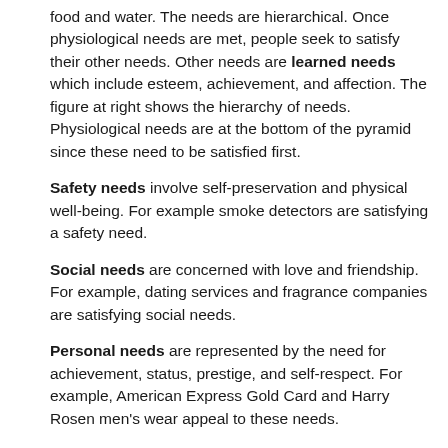food and water. The needs are hierarchical. Once physiological needs are met, people seek to satisfy their other needs. Other needs are learned needs which include esteem, achievement, and affection. The figure at right shows the hierarchy of needs. Physiological needs are at the bottom of the pyramid since these need to be satisfied first.
Safety needs involve self-preservation and physical well-being. For example smoke detectors are satisfying a safety need.
Social needs are concerned with love and friendship. For example, dating services and fragrance companies are satisfying social needs.
Personal needs are represented by the need for achievement, status, prestige, and self-respect. For example, American Express Gold Card and Harry Rosen men's wear appeal to these needs.